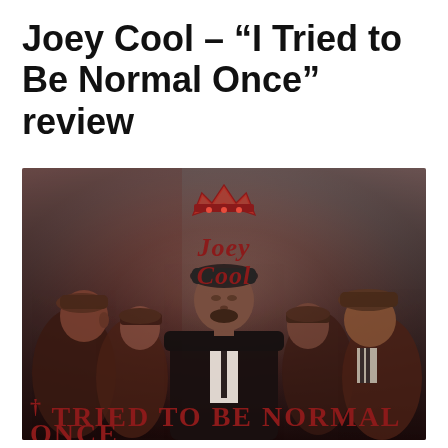Joey Cool – “I Tried to Be Normal Once” review
[Figure (illustration): Album cover art for Joey Cool's 'I Tried to Be Normal Once'. Shows multiple depictions of Joey Cool wearing vintage flat caps and suits against a dusty red/grey background. The Joey Cool logo with a crown appears at the top. At the bottom, large red text reads 'I TRIED TO BE NORMAL' with 'ONCE' partially visible.]